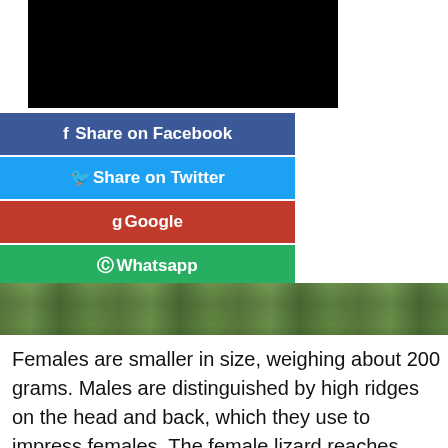[Figure (photo): Black redacted/censored rectangle area at the top of the page]
[Figure (infographic): Social media share buttons: f Share on Facebook (blue), bird Share on Twitter (cyan), g Google (red), circle Whatsapp (green)]
[Figure (photo): Partial photograph of a green lizard/chameleon on a branch]
Females are smaller in size, weighing about 200 grams. Males are distinguished by high ridges on the head and back, which they use to impress females. The female lizard reaches maturity at the age of 20 months, while the males mature after 16 months of life. However, males actually cannot mate until they